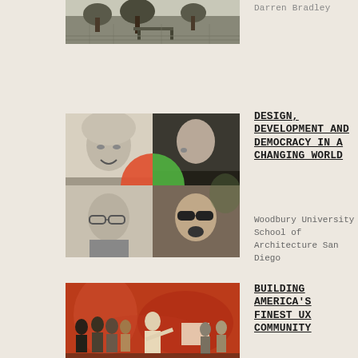[Figure (photo): Outdoor courtyard or park scene with trees and a table, black and white photo]
Darren Bradley
[Figure (photo): Four-panel collage of four people (two men, two women), with a colorful circle graphic in the center dividing the panels]
DESIGN, DEVELOPMENT AND DEMOCRACY IN A CHANGING WORLD
Woodbury University School of Architecture San Diego
[Figure (photo): Group of people standing in front of an orange/red mural or wall, event or community gathering]
BUILDING AMERICA'S FINEST UX COMMUNITY